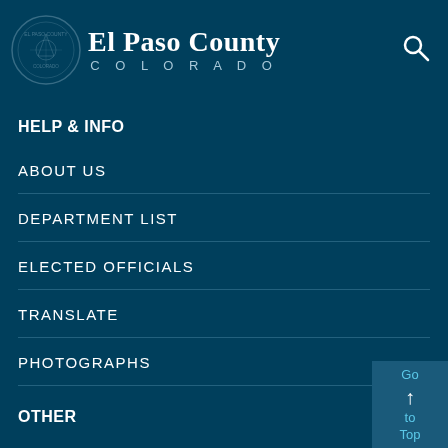El Paso County COLORADO
HELP & INFO
ABOUT US
DEPARTMENT LIST
ELECTED OFFICIALS
TRANSLATE
PHOTOGRAPHS
OTHER
STRATEGIC PLAN, MISSION & VALUES
Go to Top